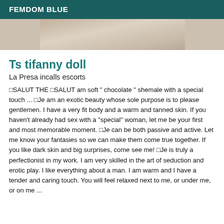FEMDOM BLUE
[Figure (photo): Partial close-up photo, cropped, showing skin and fabric texture]
Ts tifanny doll
La Presa incalls escorts
□SALUT THE □SALUT am soft " chocolate " shemale with a special touch ... □Je am an exotic beauty whose sole purpose is to please gentlemen. I have a very fit body and a warm and tanned skin. If you haven't already had sex with a "special" woman, let me be your first and most memorable moment. □Je can be both passive and active. Let me know your fantasies so we can make them come true together. If you like dark skin and big surprises, come see me! □Je is truly a perfectionist in my work. I am very skilled in the art of seduction and erotic play. I like everything about a man. I am warm and I have a tender and caring touch. You will feel relaxed next to me, or under me, or on me ...